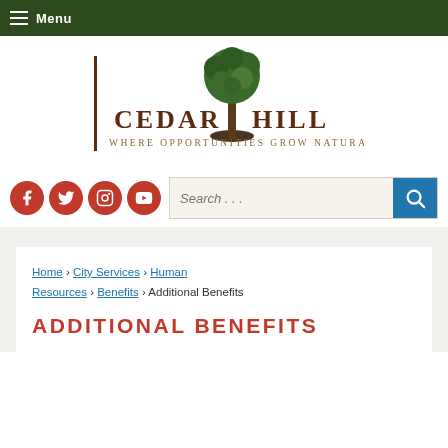Menu
[Figure (logo): Cedar Hill city logo with tree illustration and tagline 'Where Opportunities Grow Naturally']
Social media icons: Facebook, Twitter, Instagram, YouTube
Search . . .
Home › City Services › Human Resources › Benefits › Additional Benefits
ADDITIONAL BENEFITS